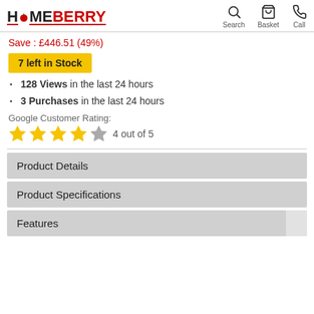HomeBerry | Search | Basket | Call
Save : £446.51 (49%)
7 left in Stock
128 Views in the last 24 hours
3 Purchases in the last 24 hours
Google Customer Rating:
4 out of 5
Product Details
Product Specifications
Features